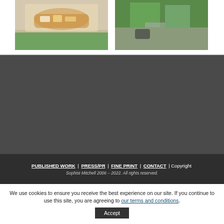[Figure (photo): Person holding a wooden board with cheese and food items outdoors]
[Figure (photo): Outdoor scene with a car parked near steps and greenery]
PUBLISHED WORK | PRESS/PR | FINE PRINT | CONTACT | Copyright ... All rights reserved.
We use cookies to ensure you receive the best experience on our site. If you continue to use this site, you are agreeing to our terms and conditions.